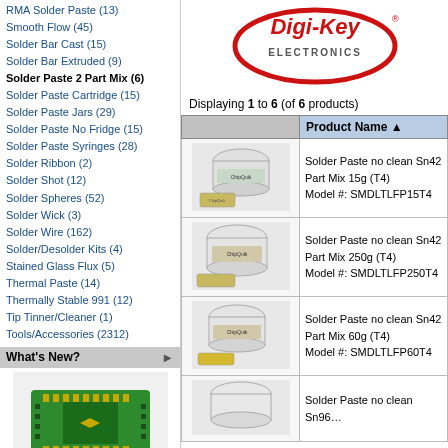RMA Solder Paste (13)
Smooth Flow (45)
Solder Bar Cast (15)
Solder Bar Extruded (9)
Solder Paste 2 Part Mix (6)
Solder Paste Cartridge (15)
Solder Paste Jars (29)
Solder Paste No Fridge (15)
Solder Paste Syringes (28)
Solder Ribbon (2)
Solder Shot (12)
Solder Spheres (52)
Solder Wick (3)
Solder Wire (162)
Solder/Desolder Kits (4)
Stained Glass Flux (5)
Thermal Paste (14)
Thermally Stable 991 (12)
Tip Tinner/Cleaner (1)
Tools/Accessories (2312)
What's New?
[Figure (photo): QFN-40 to DIP-40 SMT Adapter PCB board, green color with gold contacts]
QFN-40 to DIP-40 SMT Adapter (0.5 mm pitch, 6 x 6 mm body) Compact Series
[Figure (logo): Digi-Key Electronics logo, oval shape with red border and white background]
Displaying 1 to 6 (of 6 products)
|  | Product Name |
| --- | --- |
| [product image] | Solder Paste no clean Sn42 Part Mix 15g (T4)
Model #: SMDLTLFP15T4 |
| [product image] | Solder Paste no clean Sn42 Part Mix 250g (T4)
Model #: SMDLTLFP250T4 |
| [product image] | Solder Paste no clean Sn42 Part Mix 60g (T4)
Model #: SMDLTLFP60T4 |
| [product image] | Solder Paste no clean Sn96... |